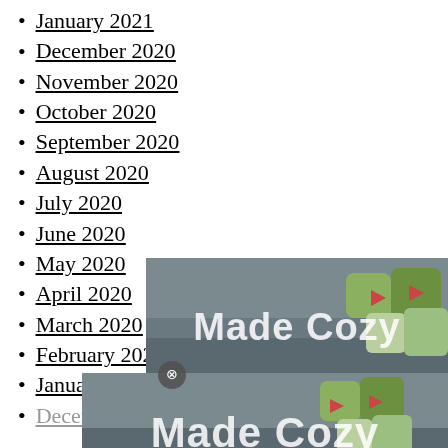January 2021
December 2020
November 2020
October 2020
September 2020
August 2020
July 2020
June 2020
May 2020
April 2020
March 2020
February 2020
January 2020
December
[Figure (photo): Two overlapping 'Made Cozy' branded advertisement overlays showing decorative pillows on a couch, with a close button on the top overlay.]